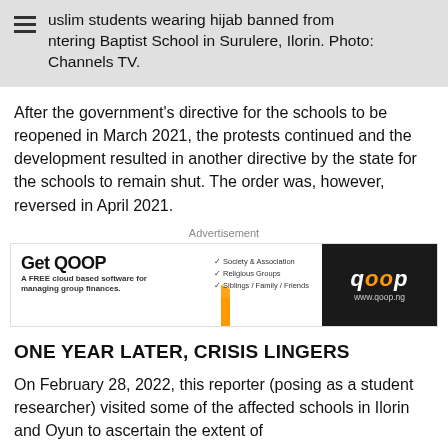Muslim students wearing hijab banned from entering Baptist School in Surulere, Ilorin. Photo: Channels TV.
After the government’s directive for the schools to be reopened in March 2021, the protests continued and the development resulted in another directive by the state for the schools to remain shut. The order was, however, reversed in April 2021.
[Figure (other): Advertisement banner for QOOP - A FREE cloud based software for managing group finances. Features Society & Association, Religious Groups, Siblings/Family/Friends. Shows app screenshot. Website: www.qoop.ng]
ONE YEAR LATER, CRISIS LINGERS
On February 28, 2022, this reporter (posing as a student researcher) visited some of the affected schools in Ilorin and Oyun to ascertain the extent of